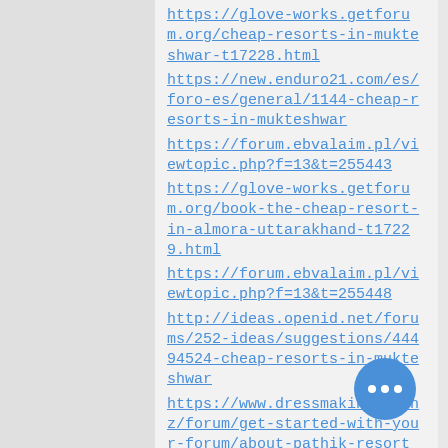https://glove-works.getforum.org/cheap-resorts-in-mukteshwar-t17228.html
https://new.enduro21.com/es/foro-es/general/1144-cheap-resorts-in-mukteshwar
https://forum.ebvalaim.pl/viewtopic.php?f=13&t=255443
https://glove-works.getforum.org/book-the-cheap-resort-in-almora-uttarakhand-t17229.html
https://forum.ebvalaim.pl/viewtopic.php?f=13&t=255448
http://ideas.openid.net/forums/252-ideas/suggestions/44494524-cheap-resorts-in-mukteshwar
https://www.dressmaking.co.nz/forum/get-started-with-your-forum/about-pathik-resort
https://bbp.aseanbiodiversity.org/index.php/km/forum/welcome-mat/135664-pathik-resort
http://ideas.openid.net/forums/252-ideas/suggestions/44494560-book-the-cheap-resort-in-almora-uttarakhand
https://www.dressmaking.co.nz/forum/get-